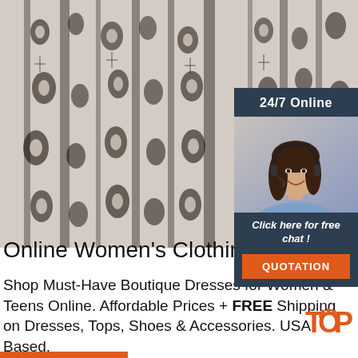[Figure (photo): Black and white patterned fabric/clothing hanging, with floral and paisley print design]
[Figure (infographic): 24/7 Online chat widget with a photo of a smiling woman with headset, 'Click here for free chat!' text, and an orange QUOTATION button]
Online Women's Clothing Boutique
Shop Must-Have Boutique Dresses for Women & Teens Online. Affordable Prices + FREE Shipping on Dresses, Tops, Shoes & Accessories. USA Based.
[Figure (logo): TOP logo with orange dot pattern forming the letter O in TOP]